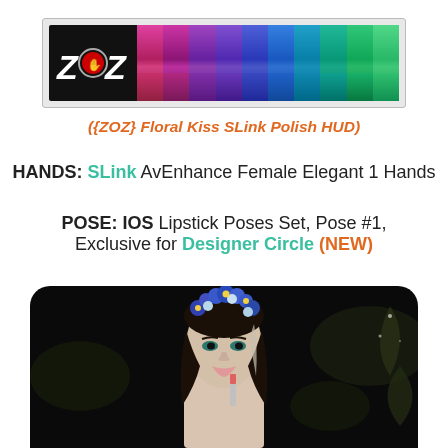[Figure (screenshot): ZOZ brand HUD showing nail polish color swatches in pink, purple, blue, teal, and green tones with ZOZ logo on left]
({ZOZ} Floral Kiss SLink Polish HUD)
HANDS:  SLink AvEnhance Female Elegant 1 Hands
POSE:  IOS Lipstick Poses Set, Pose #1,
Exclusive for Designer Circle (NEW)
[Figure (photo): 3D rendered female avatar with blue flower crown, dark hair, pale skin holding a lipstick, set against dark floral background]